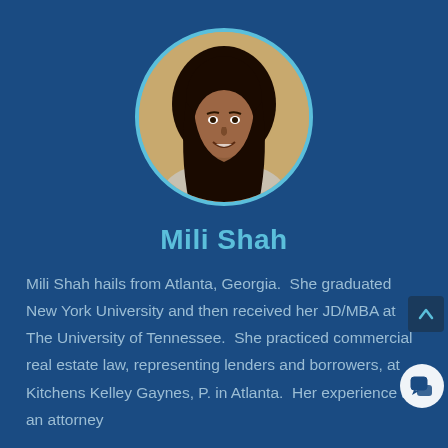[Figure (photo): Circular portrait photo of Mili Shah, a young woman with long dark hair, smiling, wearing a light-colored blazer, set against a beige/gold background. Photo has a light blue circular border.]
Mili Shah
Mili Shah hails from Atlanta, Georgia.  She graduated New York University and then received her JD/MBA at The University of Tennessee.  She practiced commercial real estate law, representing lenders and borrowers, at Kitchens Kelley Gaynes, P. in Atlanta.  Her experience as an attorney